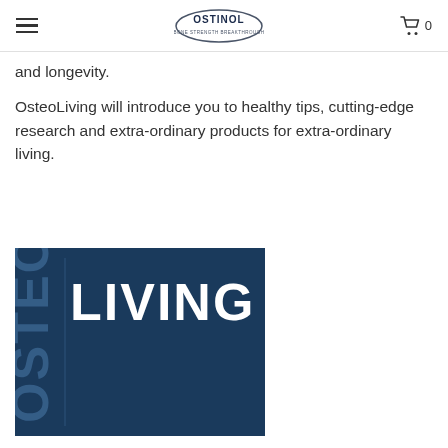Ostinol | 0
and longevity.
OsteoLiving will introduce you to healthy tips, cutting-edge research and extra-ordinary products for extra-ordinary living.
[Figure (logo): OsteoLiving logo — dark navy blue square with 'OSTEO' written vertically in large light gray letters on the left side, and 'LIVING' in large bold white letters horizontally across the top-right area.]